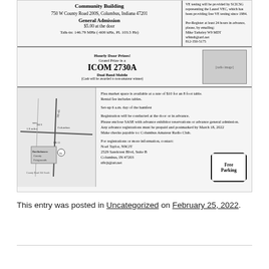[Figure (infographic): Ham radio hamfest flyer for Columbus Amateur Radio Club showing venue details, general admission price, talk-in frequency, door prizes including ICOM 2730A, flea market info, registration details, contact information, map, and free parking badge.]
This entry was posted in Uncategorized on February 25, 2022.